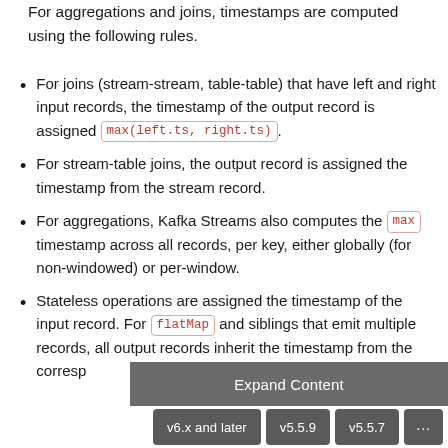For aggregations and joins, timestamps are computed using the following rules.
For joins (stream-stream, table-table) that have left and right input records, the timestamp of the output record is assigned max(left.ts, right.ts).
For stream-table joins, the output record is assigned the timestamp from the stream record.
For aggregations, Kafka Streams also computes the max timestamp across all records, per key, either globally (for non-windowed) or per-window.
Stateless operations are assigned the timestamp of the input record. For flatMap and siblings that emit multiple records, all output records inherit the timestamp from the corresp
Expand Content
v6.x and later  v5.5.9  v5.5.7  ...